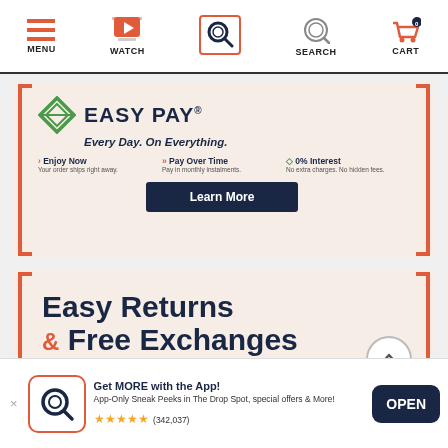MENU | WATCH | SEARCH (highlighted) | SEARCH | CART
[Figure (screenshot): Easy Pay promotional banner with diamond logo, tagline 'Every Day. On Everything.', three features: Enjoy Now, Pay Over Time, 0% Interest, and a Learn More button]
[Figure (screenshot): Easy Returns & Free Exchanges promotional banner]
Get MORE with the App! App-Only Sneak Peeks in The Drop Spot, special offers & More! ★★★★★ (342,037)